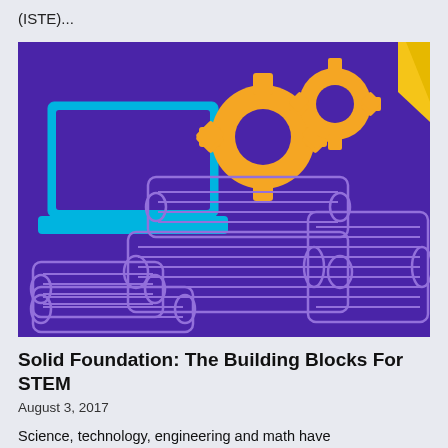(ISTE)...
[Figure (illustration): A colorful STEM-themed illustration on a purple background featuring a laptop computer with a cyan/blue screen, two interlocking orange gear/cog icons, stacks of books rendered as horizontal cylindrical shapes in white outline style, and a partially visible yellow geometric shape in the top right corner.]
Solid Foundation: The Building Blocks For STEM
August 3, 2017
Science, technology, engineering and math have